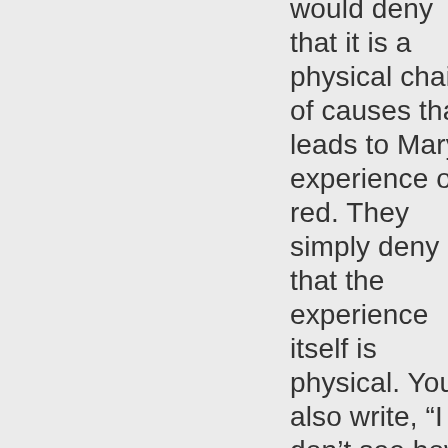would deny that it is a physical chain of causes that leads to Mary's experience of red. They simply deny that the experience itself is physical. You also write, “I don’t see how you peel her experience